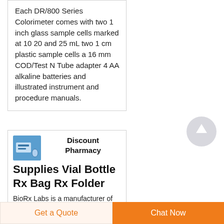Each DR/800 Series Colorimeter comes with two 1 inch glass sample cells marked at 10 20 and 25 mL two 1 cm plastic sample cells a 16 mm COD/Test N Tube adapter 4 AA alkaline batteries and illustrated instrument and procedure manuals.
[Figure (illustration): Scroll-to-top circular button with upward arrow, grey color]
[Figure (photo): Small blue product thumbnail image of pharmacy/lab equipment]
Discount Pharmacy Supplies Vial Bottle Rx Bag Rx Folder
BioRx Labs is a manufacturer of Pharmacy Supplies bags
Get a Quote
Chat Now